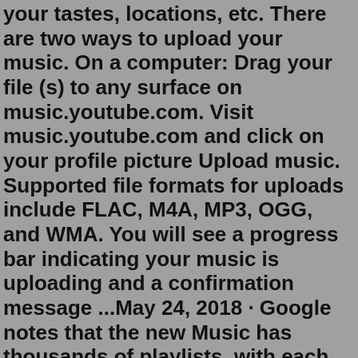your tastes, locations, etc. There are two ways to upload your music. On a computer: Drag your file (s) to any surface on music.youtube.com. Visit music.youtube.com and click on your profile picture Upload music. Supported file formats for uploads include FLAC, M4A, MP3, OGG, and WMA. You will see a progress bar indicating your music is uploading and a confirmation message ...May 24, 2018 · Google notes that the new Music has thousands of playlists, with each featuring custom YouTube-branded cover art. Beyond recommendations, this curated approach is another big focus of the new Music. YouTube Music is a new music streaming service made for music: official songs, albums, thousands of playlists and artist radio plus YouTube's tremendous catalog of remixes, live performances, covers and music videos that you can't find anywhere else - all simply organized and personalized. Edward Christopher Sheeran MBE is an English singer-songwriter. Born in Halifax, West Yorkshire and raised in Framlingham, Suffolk, he began writing songs